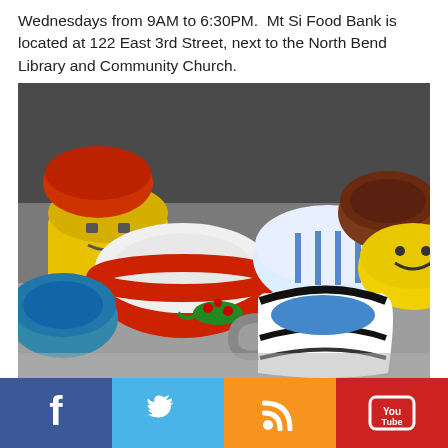Wednesdays from 9AM to 6:30PM. Mt Si Food Bank is located at 122 East 3rd Street, next to the North Bend Library and Community Church.
[Figure (photo): Multiple colorful hand-painted ceramic bowls and mugs arranged on a table, created by art students.]
Bowls Created by Mrs. Huschle's SMS art students
[Figure (infographic): Social media bar with Facebook, Twitter, RSS, and YouTube icons]